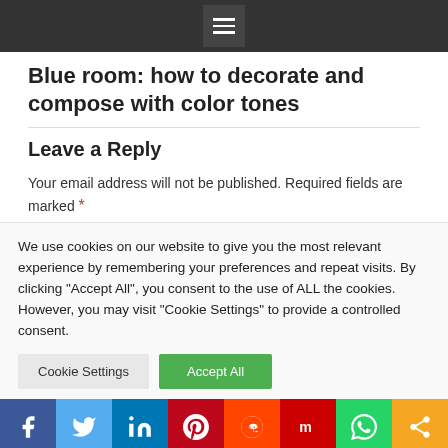Blue room: how to decorate and compose with color tones
Leave a Reply
Your email address will not be published. Required fields are marked *
We use cookies on our website to give you the most relevant experience by remembering your preferences and repeat visits. By clicking "Accept All", you consent to the use of ALL the cookies. However, you may visit "Cookie Settings" to provide a controlled consent.
f  in  p  reddit  m  WhatsApp  share